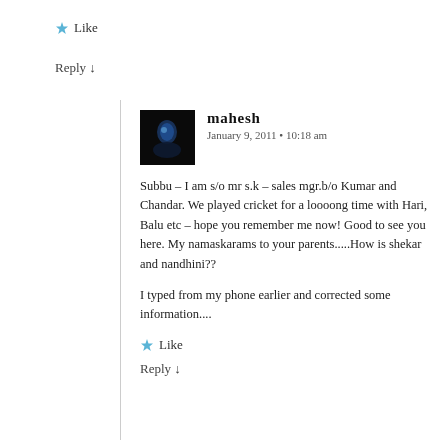★ Like
Reply ↓
mahesh
January 9, 2011 • 10:18 am
Subbu – I am s/o mr s.k – sales mgr.b/o Kumar and Chandar. We played cricket for a loooong time with Hari, Balu etc – hope you remember me now! Good to see you here. My namaskarams to your parents.....How is shekar and nandhini??
I typed from my phone earlier and corrected some information....
★ Like
Reply ↓